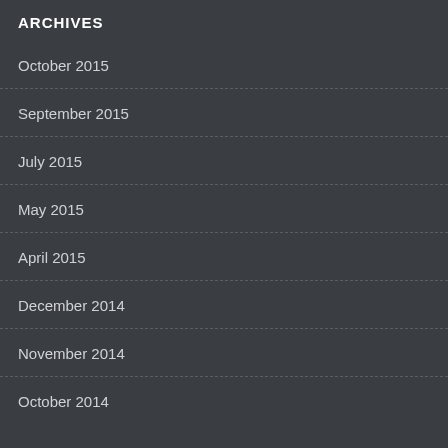ARCHIVES
October 2015
September 2015
July 2015
May 2015
April 2015
December 2014
November 2014
October 2014